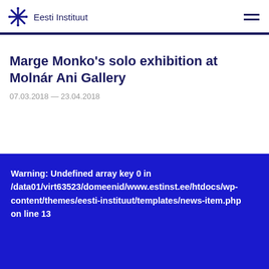Eesti Instituut
Marge Monko's solo exhibition at Molnár Ani Gallery
07.03.2018 — 23.04.2018
Warning: Undefined array key 0 in /data01/virt63523/domeenid/www.estinst.ee/htdocs/wp-content/themes/eesti-instituut/templates/news-item.php on line 13